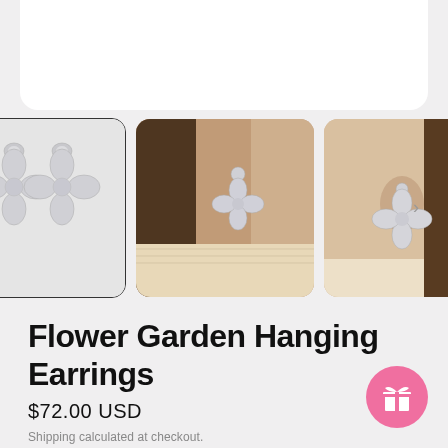[Figure (photo): Top of white product card (partially visible at top of page)]
[Figure (photo): Three thumbnail images of Flower Garden Hanging Earrings: first shows pair of silver crystal flower earrings on white background (selected/bordered), second shows earring worn on model's ear with brown hair and cream turtleneck, third shows earring worn on model's ear close-up]
Flower Garden Hanging Earrings
$72.00 USD
Shipping calculated at checkout.
[Figure (illustration): Pink circular gift/loyalty button icon in bottom right corner]